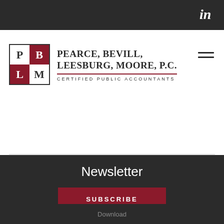[Figure (logo): LinkedIn icon in top bar]
[Figure (logo): Pearce, Bevill, Leesburg, Moore, P.C. logo with PBLM grid squares and firm name]
Newsletter
SUBSCRIBE
Download